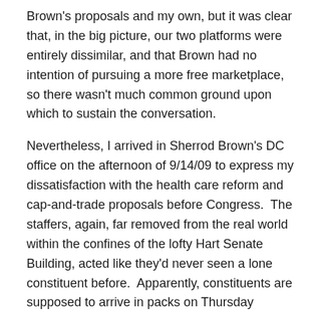Brown's proposals and my own, but it was clear that, in the big picture, our two platforms were entirely dissimilar, and that Brown had no intention of pursuing a more free marketplace, so there wasn't much common ground upon which to sustain the conversation.
Nevertheless, I arrived in Sherrod Brown's DC office on the afternoon of 9/14/09 to express my dissatisfaction with the health care reform and cap-and-trade proposals before Congress.  The staffers, again, far removed from the real world within the confines of the lofty Hart Senate Building, acted like they'd never seen a lone constituent before.  Apparently, constituents are supposed to arrive in packs on Thursday mornings to have “coffee” with the Senator, or are otherwise to request Capitol Tour tickets.  I wasn’t there on a Thursday morning, I wasn’t there to request tickets, and I didn’t arrive in a pack.  I just wanted to